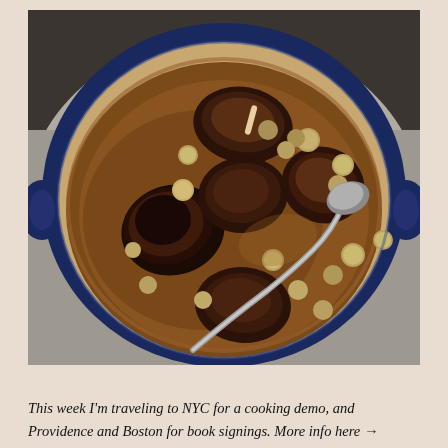[Figure (photo): Overhead view of a blue Dutch oven/braising pan containing braised short ribs or beef pieces in a rich brown sauce with small mushrooms (pearl onions or chestnuts), with a metal ladle/spoon resting in the pot. The pot sits on a gray linen napkin on a dark wooden surface.]
This week I'm traveling to NYC for a cooking demo, and Providence and Boston for book signings. More info here →